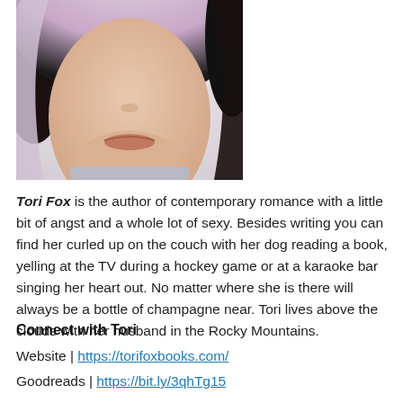[Figure (photo): Close-up portrait photo of a woman with light pink/blonde hair, showing her lower face and hair, cropped at the nose level]
Tori Fox is the author of contemporary romance with a little bit of angst and a whole lot of sexy. Besides writing you can find her curled up on the couch with her dog reading a book, yelling at the TV during a hockey game or at a karaoke bar singing her heart out. No matter where she is there will always be a bottle of champagne near. Tori lives above the clouds with her husband in the Rocky Mountains.
Connect with Tori
Website | https://torifoxbooks.com/
Goodreads | https://bit.ly/3qhTg15